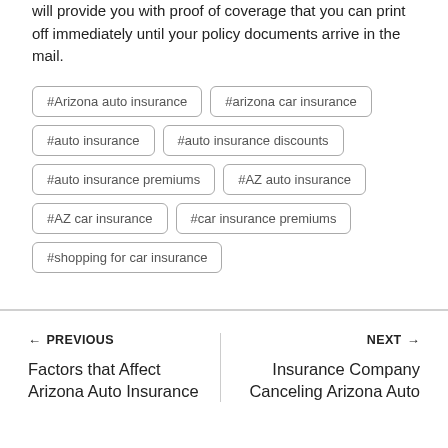will provide you with proof of coverage that you can print off immediately until your policy documents arrive in the mail.
#Arizona auto insurance
#arizona car insurance
#auto insurance
#auto insurance discounts
#auto insurance premiums
#AZ auto insurance
#AZ car insurance
#car insurance premiums
#shopping for car insurance
← PREVIOUS
Factors that Affect Arizona Auto Insurance
NEXT →
Insurance Company Canceling Arizona Auto